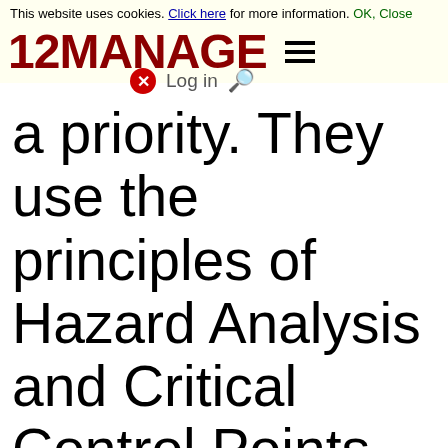This website uses cookies. Click here for more information. OK, Close
[Figure (logo): 12MANAGE logo in dark red bold text with hamburger menu icon]
a priority. They use the principles of Hazard Analysis and Critical Control Points (HACCP) HACCP has worked well for several years: